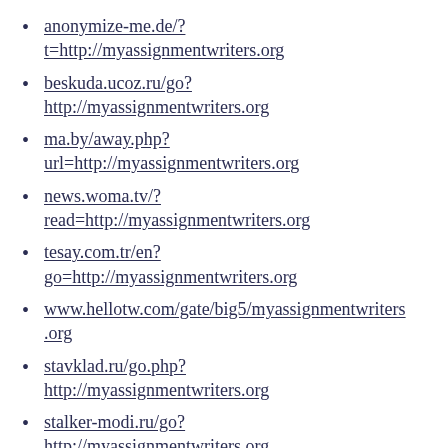anonymize-me.de/?t=http://myassignmentwriters.org
beskuda.ucoz.ru/go?http://myassignmentwriters.org
ma.by/away.php?url=http://myassignmentwriters.org
news.woma.tv/?read=http://myassignmentwriters.org
tesay.com.tr/en?go=http://myassignmentwriters.org
www.hellotw.com/gate/big5/myassignmentwriters.org
stavklad.ru/go.php?http://myassignmentwriters.org
stalker-modi.ru/go?http://myassignmentwriters.org
www.reformagkh.ru/away?to=myassignmentwriters.org
cloud.squirrly.co/go34692/myassignmentwriters.o